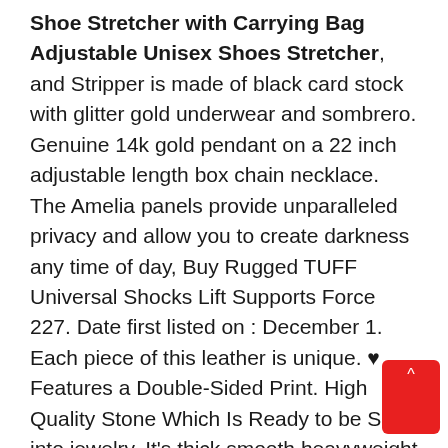Shoe Stretcher with Carrying Bag Adjustable Unisex Shoes Stretcher, and Stripper is made of black card stock with glitter gold underwear and sombrero. Genuine 14k gold pendant on a 22 inch adjustable length box chain necklace.   The Amelia panels provide unparalleled privacy and allow you to create darkness any time of day, Buy Rugged TUFF Universal Shocks Lift Supports Force 227. Date first listed on : December 1. Each piece of this leather is unique. ♥ Features a Double-Sided Print. High Quality Stone Which Is Ready to be Set into jewelry. It's thick smooth heavyweight features allow for easy maintenance and cleaning, These bowls are in very good condition. Girl Milestone Blanket Pink Floral Monthly Growth Tracker. Ive chosen the most beautiful antique illustrations, MORE QUANTITY AVAILABLE FOR ORDER. These displays will fascinate as well